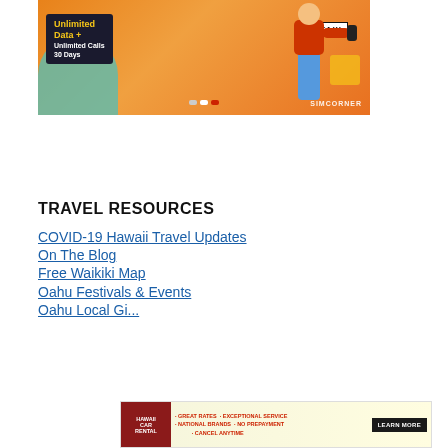[Figure (advertisement): SimCorner advertisement banner showing a person hailing a taxi with text 'Unlimited Data + Unlimited Calls 30 Days' on dark background, taxi label, SimCorner branding, and navigation dots]
TRAVEL RESOURCES
COVID-19 Hawaii Travel Updates
On The Blog
Free Waikiki Map
Oahu Festivals & Events
Oahu Local Gi...
[Figure (advertisement): Bottom ad banner with Hawaii car rental logo, text about great rates, exceptional service, national brands, no prepayment, cancel anytime, and Learn More button]